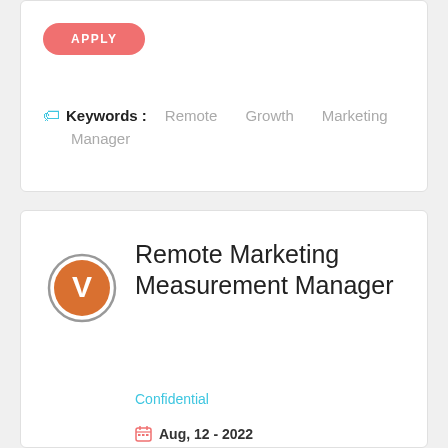APPLY
Keywords: Remote  Growth  Marketing  Manager
Remote Marketing Measurement Manager
Confidential
Aug, 12 - 2022
(us)